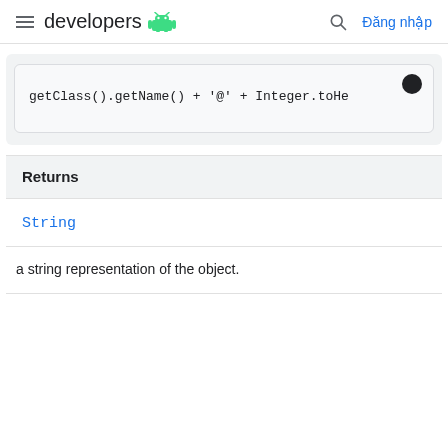developers  Đăng nhập
[Figure (screenshot): Code block showing: getClass().getName() + '@' + Integer.toHe]
| Returns |
| --- |
| String |
| a string representation of the object. |
a string representation of the object.